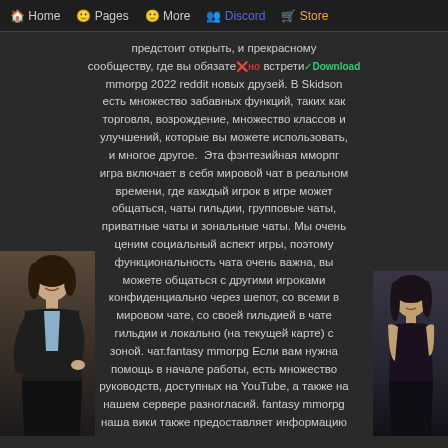Home  Pages  More  Discord  Store
предстоит открыть, и прекрасному сообществу, где вы обязательно встретите mmorpg 2022 reddit новых друзей. В Skidson есть множество забавных функций, таких как торговля, возрождение, множество классов и улучшений, которые вы можете использовать, и многое другое. Эта фэнтезийная мморпг игра включает в себя мировой чат в реальном времени, где каждый игрок в игре может общаться, чаты гильдии, групповые чаты, приватные чаты и зональные чаты. Мы очень ценим социальный аспект игры, поэтому функциональность чата очень важна, вы можете общаться с другими игроками конфиденциально через шепот, со всеми в мировом чате, со своей гильдией в чате гильдии и локально (на текущей карте) с зоной. чат.fantasy mmorpg Если вам нужна помощь в начале работы, есть множество руководств, доступных на YouTube, а также на нашем сервере разногласий. fantasy mmorpg наша вики также предоставляет информацию